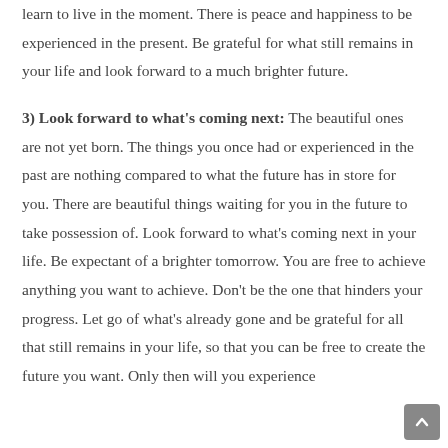learn to live in the moment. There is peace and happiness to be experienced in the present. Be grateful for what still remains in your life and look forward to a much brighter future.
3) Look forward to what's coming next: The beautiful ones are not yet born. The things you once had or experienced in the past are nothing compared to what the future has in store for you. There are beautiful things waiting for you in the future to take possession of. Look forward to what's coming next in your life. Be expectant of a brighter tomorrow. You are free to achieve anything you want to achieve. Don't be the one that hinders your progress. Let go of what's already gone and be grateful for all that still remains in your life, so that you can be free to create the future you want. Only then will you experience